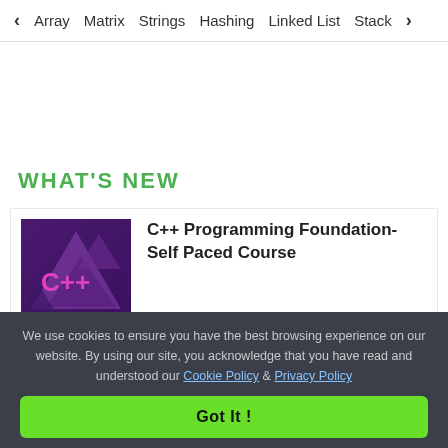< Array  Matrix  Strings  Hashing  Linked List  Stack >
WHAT'S NEW
[Figure (logo): C++ Programming Foundation course thumbnail — dark purple background with triangle shapes and pink C++ text]
C++ Programming Foundation- Self Paced Course
View Details
We use cookies to ensure you have the best browsing experience on our website. By using our site, you acknowledge that you have read and understood our Cookie Policy & Privacy Policy
Got It !